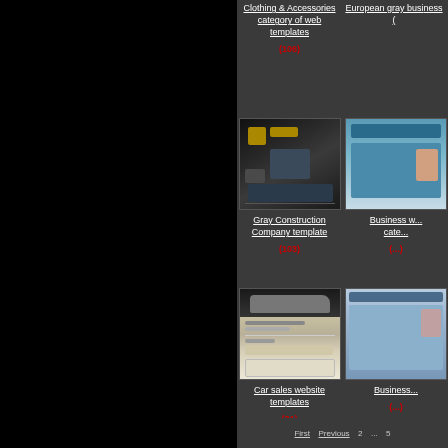Clothing & Accessories category of web templates
(106)
European gray busi... (...)
[Figure (screenshot): Gray Construction Company website template thumbnail showing dark background with figures and infographic elements]
Gray Construction Company template
(103)
[Figure (screenshot): Business website category template thumbnail — partially visible right column]
Business w... cate...
(...)
[Figure (screenshot): Car sales website template thumbnail showing a gray car on a webpage layout]
Car sales website templates
(31)
[Figure (screenshot): Business website template thumbnail — partially visible right column]
Business...
(...)
First   Previous   2 ...   5